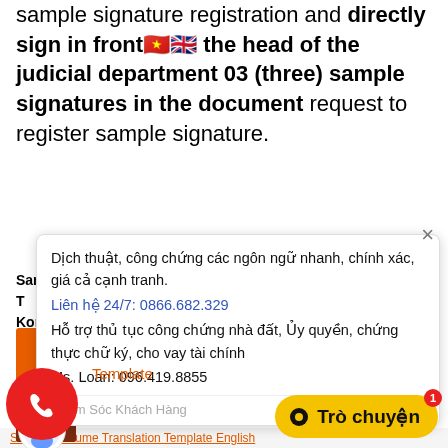sample signature registration and directly sign in front of the head of the judicial department 03 (three) sample signatures in the document request to register sample signature.
[Figure (screenshot): Popup chat widget overlay showing Vietnamese translation/notary services advertisement with contact info: Dich thuat, cong chung cac ngon ngu nhanh, chinh xac, gia ca canh tranh. Lien he 24/7: 0866.682.329. Ho tro thu tuc cong chung nha dat, Uy quyen, chung thuc chu ky, cho vay tai chinh. Ms. Loan: 096.419.8855. Footer: Cham Soc Khach Hang | ngay bay gio]
Sample T... Korean, C...
[Figure (screenshot): Orange square banner for financial translation service with circular icon]
[Figure (screenshot): Red circular call button at bottom left]
Template
[Figure (screenshot): Yellow Tro chuyen (chat) button at bottom right with notification badge showing 1]
Sample Resume Translation Template English...